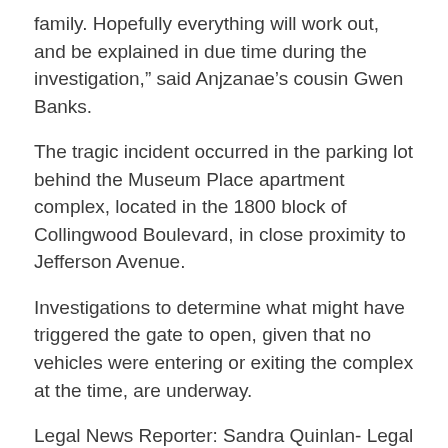family. Hopefully everything will work out, and be explained in due time during the investigation," said Anjzanae’s cousin Gwen Banks.
The tragic incident occurred in the parking lot behind the Museum Place apartment complex, located in the 1800 block of Collingwood Boulevard, in close proximity to Jefferson Avenue.
Investigations to determine what might have triggered the gate to open, given that no vehicles were entering or exiting the complex at the time, are underway.
Legal News Reporter: Sandra Quinlan- Legal News for Ohio Personal Injury Lawyers.
Media Information:
Address: